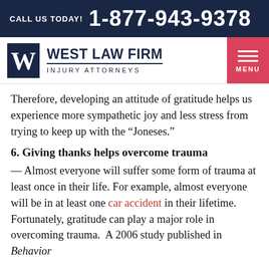CALL US TODAY! 1-877-943-9378
[Figure (logo): West Law Firm logo with W monogram in navy square and text 'WEST LAW FIRM INJURY ATTORNEYS']
Therefore, developing an attitude of gratitude helps us experience more sympathetic joy and less stress from trying to keep up with the “Joneses.”
6. Giving thanks helps overcome trauma
— Almost everyone will suffer some form of trauma at least once in their life. For example, almost everyone will be in at least one car accident in their lifetime. Fortunately, gratitude can play a major role in overcoming trauma.  A 2006 study published in Behavior